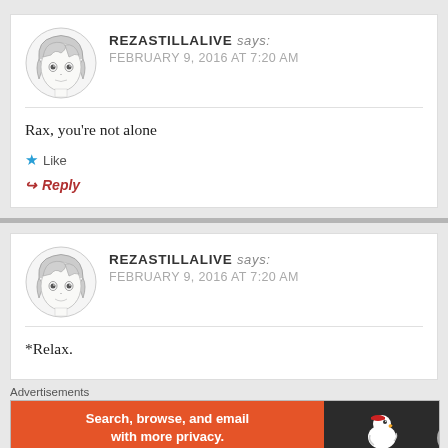REZASTILLALIVE says: FEBRUARY 9, 2016 AT 7:20 AM
Rax, you’re not alone
★ Like
↪ Reply
REZASTILLALIVE says: FEBRUARY 9, 2016 AT 7:20 AM
*Relax.
Advertisements
[Figure (screenshot): DuckDuckGo advertisement banner: orange background with text 'Search, browse, and email with more privacy. All in One Free App' and DuckDuckGo logo on dark right panel]